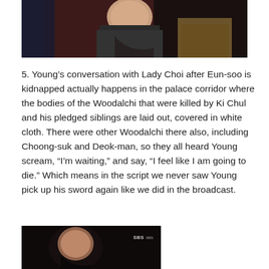[Figure (photo): Screenshot from a Korean drama showing a person in a dark vest/jacket with a reddish background]
5. Young’s conversation with Lady Choi after Eun-soo is kidnapped actually happens in the palace corridor where the bodies of the Woodalchi that were killed by Ki Chul and his pledged siblings are laid out, covered in white cloth. There were other Woodalchi there also, including Choong-suk and Deok-man, so they all heard Young scream, “I’m waiting,” and say, “I feel like I am going to die.” Which means in the script we never saw Young pick up his sword again like we did in the broadcast.
[Figure (screenshot): Dark screenshot from SBS Korean drama showing a close-up of a person's face with SBS logo watermark]